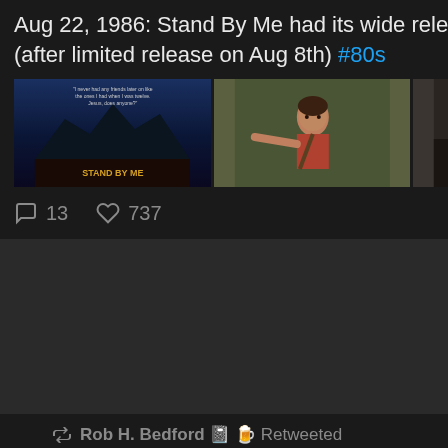Aug 22, 1986: Stand By Me had its wide release in theaters (after limited release on Aug 8th) #80s
[Figure (photo): Three photos from Stand By Me movie: movie poster, a boy pointing, and a group of four boys standing together]
13 comments, 737 likes
Rob H. Bedford 📓🍺 Retweeted
Old Scho... @... · Aug 22
Aug 22, 1987: 35 years ago, Nintend released The Legend of Zelda for sale in the U.S. #80s Came out in February 1986 in Japan. Remember the shiny gold cartridge?